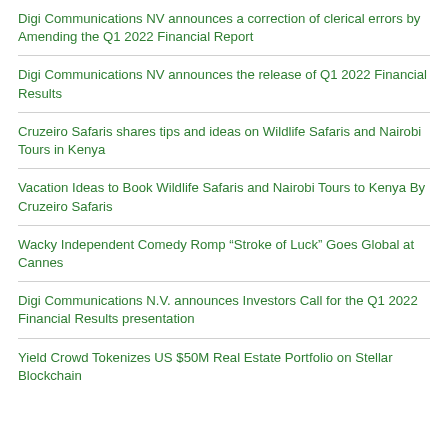Digi Communications NV announces a correction of clerical errors by Amending the Q1 2022 Financial Report
Digi Communications NV announces the release of Q1 2022 Financial Results
Cruzeiro Safaris shares tips and ideas on Wildlife Safaris and Nairobi Tours in Kenya
Vacation Ideas to Book Wildlife Safaris and Nairobi Tours to Kenya By Cruzeiro Safaris
Wacky Independent Comedy Romp “Stroke of Luck” Goes Global at Cannes
Digi Communications N.V. announces Investors Call for the Q1 2022 Financial Results presentation
Yield Crowd Tokenizes US $50M Real Estate Portfolio on Stellar Blockchain